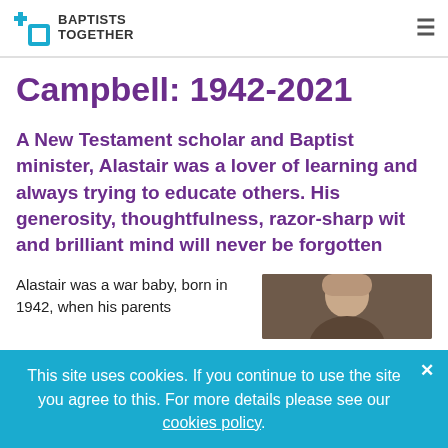BAPTISTS TOGETHER
Campbell: 1942-2021
A New Testament scholar and Baptist minister, Alastair was a lover of learning and always trying to educate others. His generosity, thoughtfulness, razor-sharp wit and brilliant mind will never be forgotten
Alastair was a war baby, born in 1942, when his parents
[Figure (photo): Partial photo of a bald man, cropped at the bottom of the page]
This site uses cookies. If you continue to use the site you agree to this. For more details please see our cookies policy.